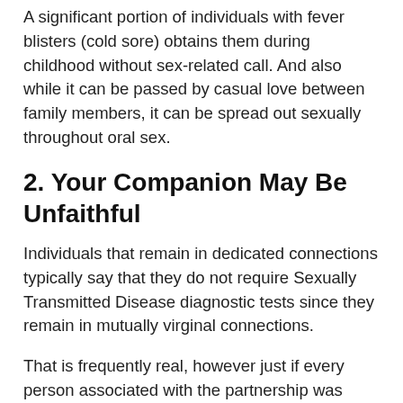A significant portion of individuals with fever blisters (cold sore) obtains them during childhood without sex-related call. And also while it can be passed by casual love between family members, it can be spread out sexually throughout oral sex.
2. Your Companion May Be Unfaithful
Individuals that remain in dedicated connections typically say that they do not require Sexually Transmitted Disease diagnostic tests since they remain in mutually virginal connections.
That is frequently real, however just if every person associated with the partnership was STD-free prior to they got together.